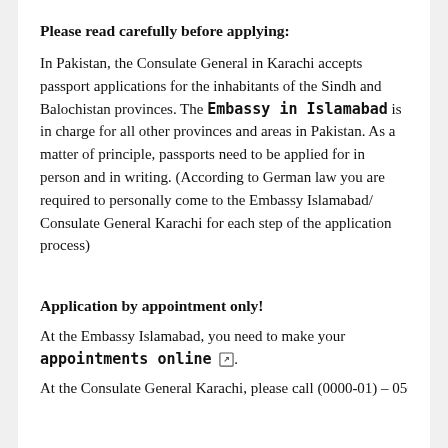Please read carefully before applying:
In Pakistan, the Consulate General in Karachi accepts passport applications for the inhabitants of the Sindh and Balochistan provinces. The Embassy in Islamabad is in charge for all other provinces and areas in Pakistan. As a matter of principle, passports need to be applied for in person and in writing. (According to German law you are required to personally come to the Embassy Islamabad/ Consulate General Karachi for each step of the application process)
Application by appointment only!
At the Embassy Islamabad, you need to make your appointments online.
At the Consulate General Karachi, please call (0000-01) – 0507...